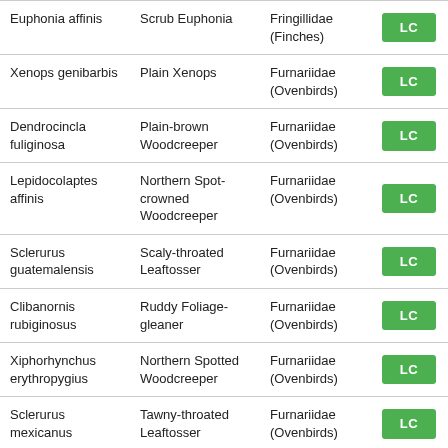| Euphonia affinis | Scrub Euphonia | Fringillidae (Finches) | LC |
| Xenops genibarbis | Plain Xenops | Furnariidae (Ovenbirds) | LC |
| Dendrocincla fuliginosa | Plain-brown Woodcreeper | Furnariidae (Ovenbirds) | LC |
| Lepidocolaptes affinis | Northern Spot-crowned Woodcreeper | Furnariidae (Ovenbirds) | LC |
| Sclerurus guatemalensis | Scaly-throated Leaftosser | Furnariidae (Ovenbirds) | LC |
| Clibanornis rubiginosus | Ruddy Foliage-gleaner | Furnariidae (Ovenbirds) | LC |
| Xiphorhynchus erythropygius | Northern Spotted Woodcreeper | Furnariidae (Ovenbirds) | LC |
| Sclerurus mexicanus | Tawny-throated Leaftosser | Furnariidae (Ovenbirds) | LC |
| Dendrocolaptes sanctithomae | Western Barred Woodcreeper | Furnariidae (Ovenbirds) | LC |